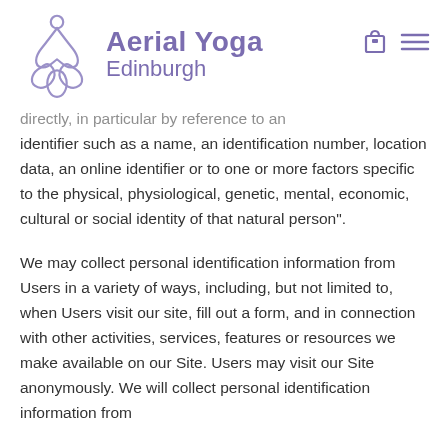[Figure (logo): Aerial Yoga Edinburgh logo with stylized figure and purple brand text]
directly, in particular by reference to an identifier such as a name, an identification number, location data, an online identifier or to one or more factors specific to the physical, physiological, genetic, mental, economic, cultural or social identity of that natural person".
We may collect personal identification information from Users in a variety of ways, including, but not limited to, when Users visit our site, fill out a form, and in connection with other activities, services, features or resources we make available on our Site. Users may visit our Site anonymously. We will collect personal identification information from